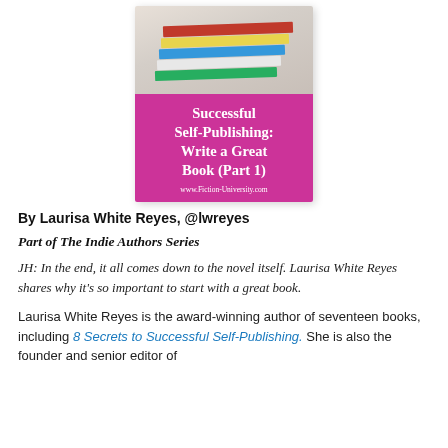[Figure (illustration): Book cover for 'Successful Self-Publishing: Write a Great Book (Part 1)' showing a stack of colorful books on top and a magenta/pink background with white bold title text and the URL www.Fiction-University.com at the bottom.]
By Laurisa White Reyes, @lwreyes
Part of The Indie Authors Series
JH: In the end, it all comes down to the novel itself. Laurisa White Reyes shares why it's so important to start with a great book.
Laurisa White Reyes is the award-winning author of seventeen books, including 8 Secrets to Successful Self-Publishing. She is also the founder and senior editor of